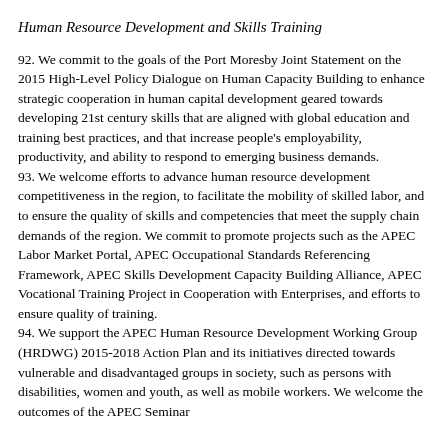Human Resource Development and Skills Training
92. We commit to the goals of the Port Moresby Joint Statement on the 2015 High-Level Policy Dialogue on Human Capacity Building to enhance strategic cooperation in human capital development geared towards developing 21st century skills that are aligned with global education and training best practices, and that increase people's employability, productivity, and ability to respond to emerging business demands.
93. We welcome efforts to advance human resource development competitiveness in the region, to facilitate the mobility of skilled labor, and to ensure the quality of skills and competencies that meet the supply chain demands of the region. We commit to promote projects such as the APEC Labor Market Portal, APEC Occupational Standards Referencing Framework, APEC Skills Development Capacity Building Alliance, APEC Vocational Training Project in Cooperation with Enterprises, and efforts to ensure quality of training.
94. We support the APEC Human Resource Development Working Group (HRDWG) 2015-2018 Action Plan and its initiatives directed towards vulnerable and disadvantaged groups in society, such as persons with disabilities, women and youth, as well as mobile workers. We welcome the outcomes of the APEC Seminar